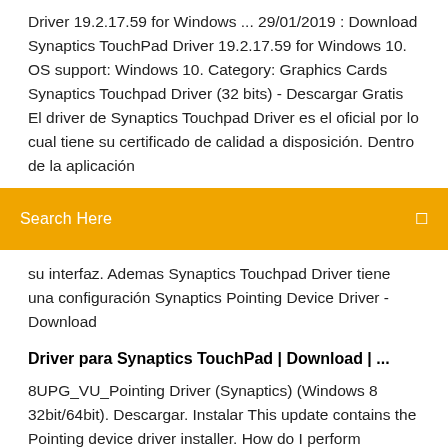Driver 19.2.17.59 for Windows ... 29/01/2019 : Download Synaptics TouchPad Driver 19.2.17.59 for Windows 10. OS support: Windows 10. Category: Graphics Cards Synaptics Touchpad Driver (32 bits) - Descargar Gratis El driver de Synaptics Touchpad Driver es el oficial por lo cual tiene su certificado de calidad a disposición. Dentro de la aplicación
Search Here
su interfaz. Ademas Synaptics Touchpad Driver tiene una configuración Synaptics Pointing Device Driver - Download
Driver para Synaptics TouchPad | Download | ...
8UPG_VU_Pointing Driver (Synaptics) (Windows 8 32bit/64bit). Descargar. Instalar This update contains the Pointing device driver installer. How do I perform  Synaptics HID TouchPad Update (Windows 8.1 64bit) Windows® 8.1 64-bit the current version of the Synaptics TouchPad driver must be uninstalled. Synaptics Touchpad Driver for Windows 8.1 (32-bit ... Synaptics